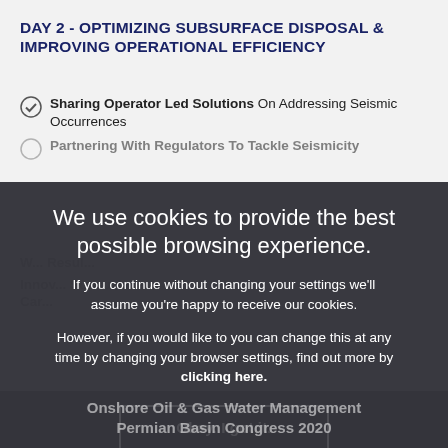DAY 2 - OPTIMIZING SUBSURFACE DISPOSAL & IMPROVING OPERATIONAL EFFICIENCY
Sharing Operator Led Solutions On Addressing Seismic Occurrences
Partnering With Regulators To Tackle Seismicity...
We use cookies to provide the best possible browsing experience.
If you continue without changing your settings we'll assume you're happy to receive our cookies.
However, if you would like to you can change this at any time by changing your browser settings, find out more by clicking here.
Okay. I got it.
Onshore Oil & Gas Water Management Permian Basin Congress 2020